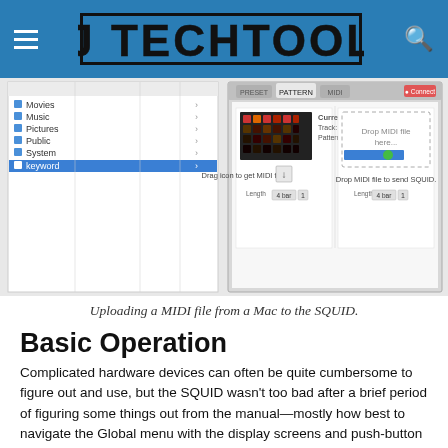DJ TECHTOOLS
[Figure (screenshot): Screenshot of DJ TechTools SQUID MIDI editor software showing a Mac file browser on the left and the SQUID pattern import/export interface on the right, with options to drag icon to get MIDI file and drop MIDI file to send SQUID.]
Uploading a MIDI file from a Mac to the SQUID.
Basic Operation
Complicated hardware devices can often be quite cumbersome to figure out and use, but the SQUID wasn't too bad after a brief period of figuring some things out from the manual—mostly how best to navigate the Global menu with the display screens and push-button rotary control.
A generous internal memory holds 128 projects, each with up to 64 patterns. Patterns are up to 64 steps long, with 16 tracks each. Function buttons to the left of the 16 velocity-sensitive, multi-colored pads select the pad modes, which you use to